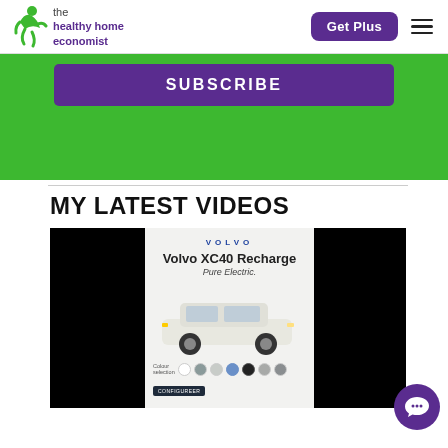the healthy home economist | Get Plus | Navigation menu
[Figure (screenshot): Green subscribe banner with purple SUBSCRIBE button]
MY LATEST VIDEOS
[Figure (screenshot): Video player showing Volvo XC40 Recharge Pure Electric advertisement with black sidebars and colour selection row]
[Figure (illustration): Purple chat/messaging bubble icon in the bottom right corner]